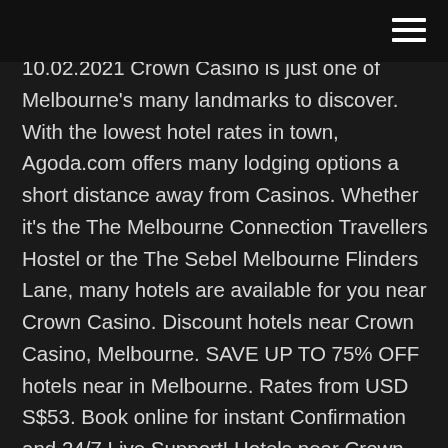10.02.2021 Crown Casino is just one of Melbourne's many landmarks to discover. With the lowest hotel rates in town, Agoda.com offers many lodging options a short distance away from Casinos. Whether it's the The Melbourne Connection Travellers Hostel or the The Sebel Melbourne Flinders Lane, many hotels are available for you near Crown Casino. Discount hotels near Crown Casino, Melbourne. SAVE UP TO 75% OFF hotels near in Melbourne. Rates from USD S$53. Book online for instant Confirmation and 24/7 Live Support! Hotels near Crown Casino, Melbourne on Tripadvisor: Find 57,801 traveller reviews, 50,243 candid photos, and prices for 336 hotels near Crown Casino in Melbourne, Australia. Hotels near Crown Casino, Melbourne on Tripadvisor: Find 56,620 traveler reviews, 50,248 candid